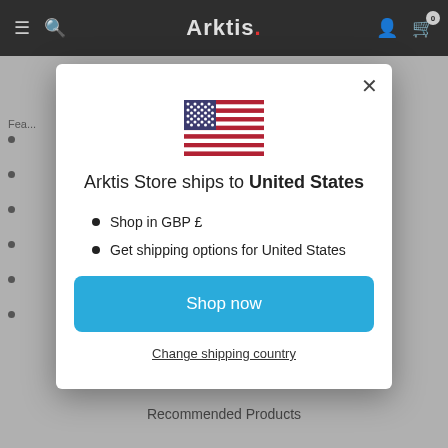Arktis
[Figure (screenshot): US flag emoji shown in modal dialog]
Arktis Store ships to United States
Shop in GBP £
Get shipping options for United States
Shop now
Change shipping country
Recommended Products